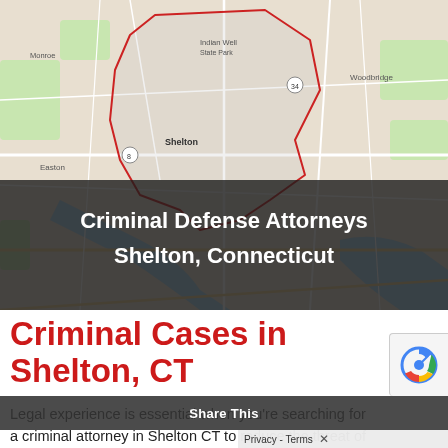[Figure (map): Google Maps screenshot showing Shelton, Connecticut area with city boundary polygon highlighted, surrounding towns including Monroe, Trumbull, Derby, Orange, Ansonia, and Woodbridge visible.]
Criminal Defense Attorneys Shelton, Connecticut
Criminal Cases in Shelton, CT
Legal experience is essential when you're searching for a criminal attorney in Shelton CT to reduce the threat of prison, fines, and jail...